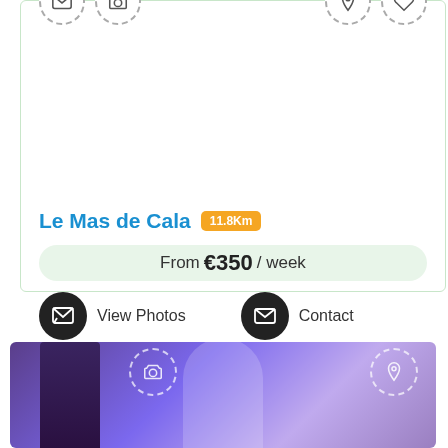[Figure (screenshot): Listing card for Le Mas de Cala with icons for email, photo, map pin, and heart at top. White image area. Shows property name, distance badge 11.8Km, price from €350/week, and action buttons View Photos and Contact.]
Le Mas de Cala
11.8Km
From €350 / week
View Photos
Contact
[Figure (photo): Interior room photo with purple/blue lighting, an arch-shaped doorway, and a dark door on the left. Camera icon and map pin icon visible at top.]